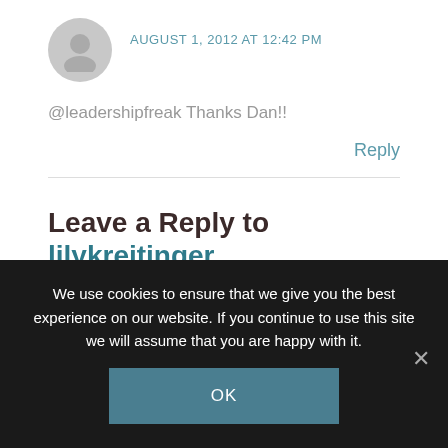AUGUST 1, 2012 AT 12:42 PM
@leadershipfreak Thanks Dan!!
Reply
Leave a Reply to lilykreitinger
Cancel Reply
We use cookies to ensure that we give you the best experience on our website. If you continue to use this site we will assume that you are happy with it.
OK